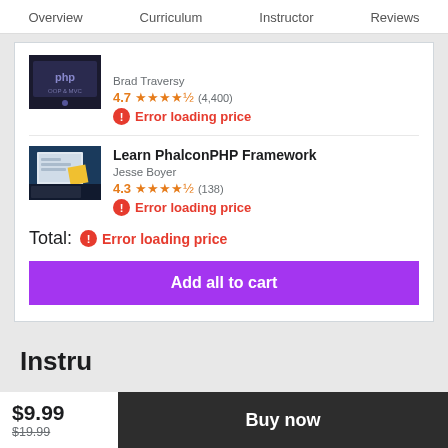Overview   Curriculum   Instructor   Reviews
[Figure (screenshot): PHP course thumbnail with dark background and PHP OOP & MVC text]
Brad Traversy
4.7 ★★★★½ (4,400)
⚠ Error loading price
Learn PhalconPHP Framework
[Figure (screenshot): PhalconPHP course thumbnail showing laptop with code]
Jesse Boyer
4.3 ★★★★½ (138)
⚠ Error loading price
Total: ⚠ Error loading price
Add all to cart
$9.99
$19.99
Buy now